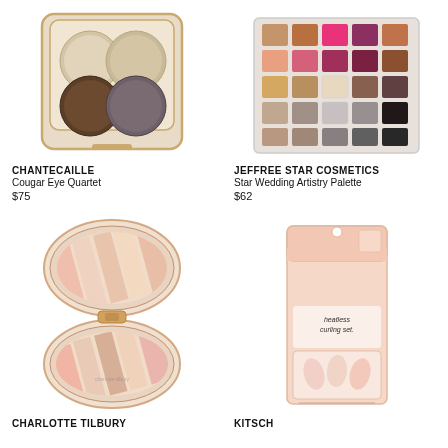[Figure (photo): Chantecaille Cougar Eye Quartet eyeshadow palette, a gold-rimmed compact with four eyeshadow pans in neutral/brown tones]
[Figure (photo): Jeffree Star Cosmetics Star Wedding Artistry Palette, a large eyeshadow palette with 25 pans including pinks, mauves, browns, and grays]
CHANTECAILLE
Cougar Eye Quartet
$75
JEFFREE STAR COSMETICS
Star Wedding Artistry Palette
$62
[Figure (photo): Charlotte Tilbury compact pressed powder/highlighter with stripes of different shades, rose gold case]
[Figure (photo): Kitsch heatless curling set in pink packaging box]
CHARLOTTE TILBURY
KITSCH